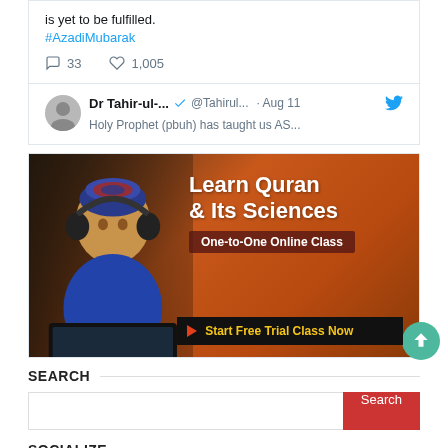is yet to be fulfilled. #AzadiMubarak
33 comments · 1,005 likes
Dr Tahir-ul-... @Tahirul... · Aug 11
[Figure (photo): Advertisement banner for Learn Quran & Its Sciences - One-to-One Online Class, featuring a boy with headphones and a laptop. Includes 'Start Free Trial Class Now' call to action.]
SEARCH
Search input box with Search button
SOCIALIZE